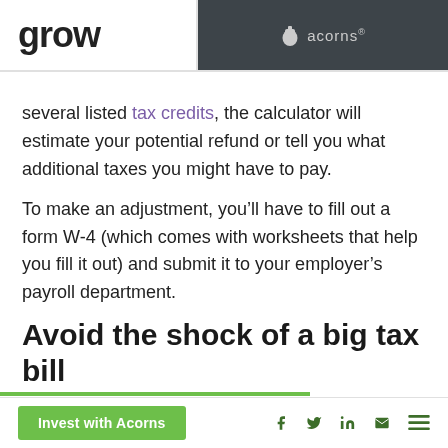grow | acorns®
several listed tax credits, the calculator will estimate your potential refund or tell you what additional taxes you might have to pay.
To make an adjustment, you'll have to fill out a form W-4 (which comes with worksheets that help you fill it out) and submit it to your employer's payroll department.
Avoid the shock of a big tax bill
Invest with Acorns